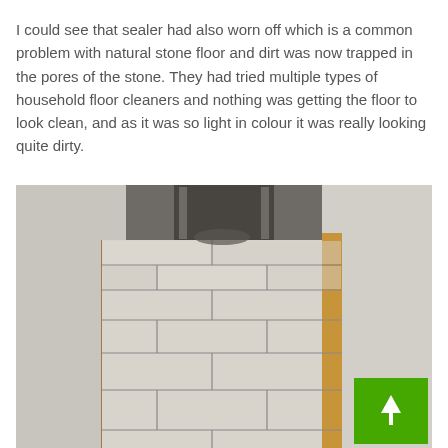I could see that sealer had also worn off which is a common problem with natural stone floor and dirt was now trapped in the pores of the stone. They had tried multiple types of household floor cleaners and nothing was getting the floor to look clean, and as it was so light in colour it was really looking quite dirty.
[Figure (photo): A photograph of a hallway floor covered with light-coloured natural stone tiles in a staggered brick pattern. The grout lines are visible and darkened with dirt. The walls have wooden skirting boards. A doorway is visible in the background.]